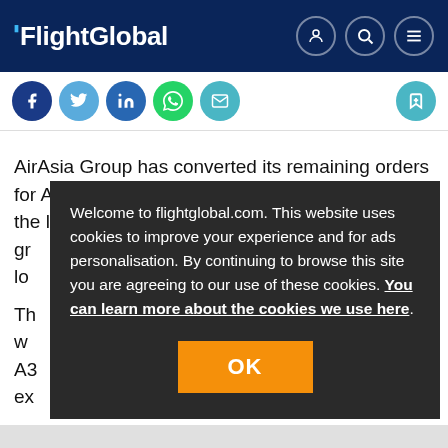FlightGlobal
[Figure (screenshot): Social sharing icons: Facebook, Twitter, LinkedIn, WhatsApp, Email, and a bookmark icon on the right]
AirAsia Group has converted its remaining orders for Airbus A320neos into the larger A321neo, as the low-cost airline gr... lo...
Th... w... A3... ex...
Welcome to flightglobal.com. This website uses cookies to improve your experience and for ads personalisation. By continuing to browse this site you are agreeing to our use of these cookies. You can learn more about the cookies we use here.
OK